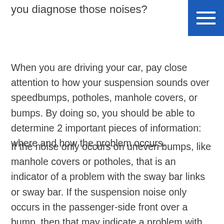you diagnose those noises?
[Figure (other): Blue square menu/hamburger icon button in top-right corner]
When you are driving your car, pay close attention to how your suspension sounds over speedbumps, potholes, manhole covers, or bumps. By doing so, you should be able to determine 2 important pieces of information: where and how the problem occurs.
If the noise only occurs on uneven bumps, like manhole covers or potholes, that is an indicator of a problem with the sway bar links or sway bar. If the suspension noise only occurs in the passenger-side front over a bump, then that may indicate a problem with that corner of the suspension, perhaps a wheel bearing, ball joint, or control arm bushing.